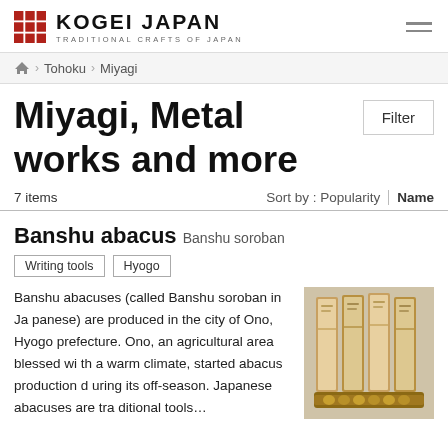KOGEI JAPAN — TRADITIONAL CRAFTS OF JAPAN
Tohoku > Miyagi
Miyagi, Metal works and more
7 items   Sort by : Popularity | Name
Banshu abacus  Banshu soroban
Writing tools
Hyogo
Banshu abacuses (called Banshu soroban in Japanese) are produced in the city of Ono, Hyogo prefecture. Ono, an agricultural area blessed with a warm climate, started abacus production during its off-season. Japanese abacuses are traditional tools…
[Figure (photo): Photo of Banshu abacus products — several wooden abacus frames displayed together]